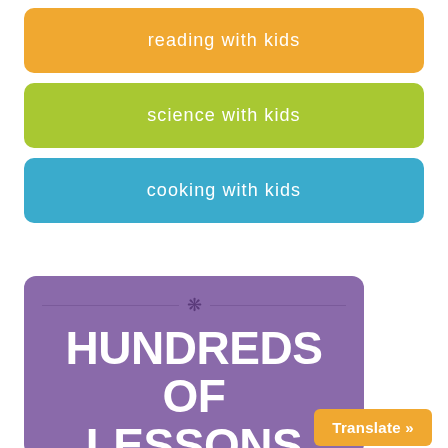reading with kids
science with kids
cooking with kids
[Figure (infographic): Purple rounded rectangle containing ornamental divider with snowflake/asterisk symbol and dotted lines, followed by large bold white uppercase text: HUNDREDS OF LESSONS]
Translate »